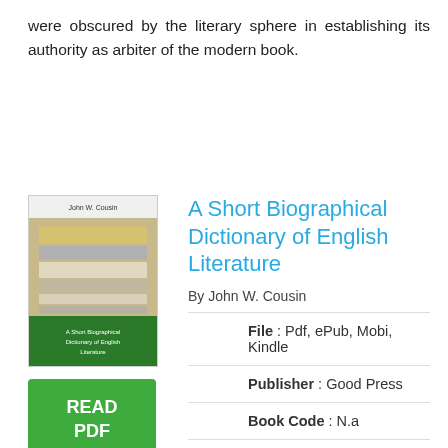were obscured by the literary sphere in establishing its authority as arbiter of the modern book.
[Figure (illustration): Book cover image for 'A Short Biographical Dictionary of English Literature' by John W. Cousin, showing stacked books]
[Figure (other): Green 'READ PDF' button]
A Short Biographical Dictionary of English Literature
By John W. Cousin
File : Pdf, ePub, Mobi, Kindle
Publisher : Good Press
Book Code : N.a